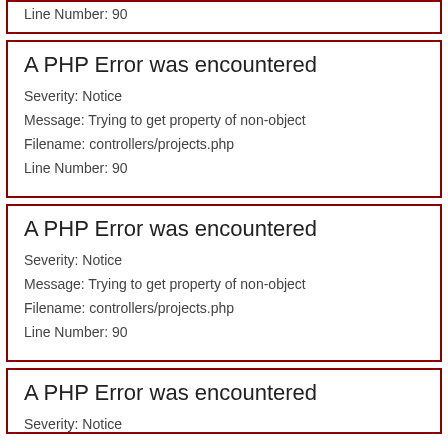Line Number: 90
A PHP Error was encountered
Severity: Notice
Message: Trying to get property of non-object
Filename: controllers/projects.php
Line Number: 90
A PHP Error was encountered
Severity: Notice
Message: Trying to get property of non-object
Filename: controllers/projects.php
Line Number: 90
A PHP Error was encountered
Severity: Notice